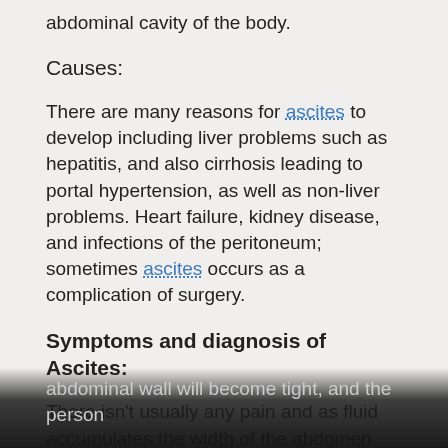abdominal cavity of the body.
Causes:
There are many reasons for ascites to develop including liver problems such as hepatitis, and also cirrhosis leading to portal hypertension, as well as non-liver problems. Heart failure, kidney disease, and infections of the peritoneum; sometimes ascites occurs as a complication of surgery.
Symptoms and diagnosis of Ascites:
There isn't usually any pain and as fluid accumulates the width of the abdomen increases and the person gains weight. In extreme cases the abdominal wall will become tight, and the person